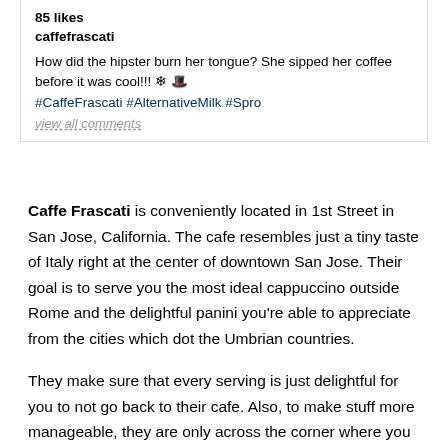[Figure (screenshot): Instagram post screenshot showing 85 likes, username caffefrascati, caption about hipster coffee joke with snowflake and hat emojis, hashtags #CaffeFrascati #AlternativeMilk #Spro, and view all comments link]
Caffe Frascati is conveniently located in 1st Street in San Jose, California. The cafe resembles just a tiny taste of Italy right at the center of downtown San Jose. Their goal is to serve you the most ideal cappuccino outside Rome and the delightful panini you're able to appreciate from the cities which dot the Umbrian countries.
They make sure that every serving is just delightful for you to not go back to their cafe. Also, to make stuff more manageable, they are only across the corner where you can just jump right into their spot and grab some coffee and some